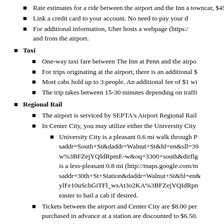Rate estimates for a ride between the airport and the Inn a towncar, $45-60 for a luxury sedan, and $60-70 for a luxu
Link a credit card to your account. No need to pay your d
For additional information, Uber hosts a webpage (https:/ and from the airport.
Taxi
One-way taxi fare between The Inn at Penn and the airpo
For trips originating at the airport, there is an additional $
Most cabs hold up to 3 people. An additional fee of $1 wi
The trip takes between 15-30 minutes depending on traffi
Regional Rail
The airport is serviced by SEPTA's Airport Regional Rail
In Center City, you may utilize either the University City
University City is a pleasant 0.6 mi walk through P saddr=South+St&daddr=Walnut+St&hl=en&sll=39 w%3BFZejYQIdRpmE-w&oq=3300+south&dirflg is a less-pleasant 0.8 mi (http://maps.google.com/m saddr=30th+St+Station&daddr=Walnut+St&hl=en& ylFe10uScbGiTFl_wsAt3o2KA%3BFZejYQIdRpn easier to hail a cab if desired.
Tickets between the airport and Center City are $8.00 per purchased in advance at a station are discounted to $6.50.
The train is scheduled to run every 30 minutes. The full A (http://www.septa.org/schedules/rail/pdf/air.pdf).
The trip takes approximately 20 minutes each way.